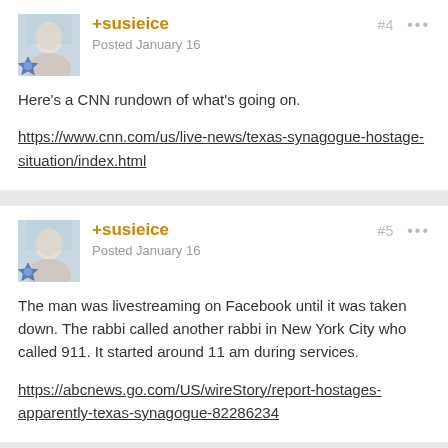+susieice
Posted January 16
#4
Here's a CNN rundown of what's going on.

https://www.cnn.com/us/live-news/texas-synagogue-hostage-situation/index.html
+susieice
Posted January 16
#5
The man was livestreaming on Facebook until it was taken down. The rabbi called another rabbi in New York City who called 911. It started around 11 am during services.

https://abcnews.go.com/US/wireStory/report-hostages-apparently-texas-synagogue-82286234